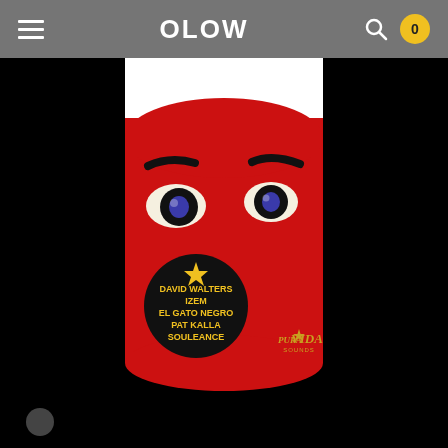OLOW
[Figure (illustration): Stylized illustration of a red face with large eyes with blue pupils on black pupils and thick black eyebrows, black background at bottom. A black circular badge with a gold star and yellow text reads: DAVID WALTERS / IZEM / EL GATO NEGRO / PAT KALLA / SOULEANCE. Bottom right shows PURAVIDA SOUNDS logo in gold/yellow text.]